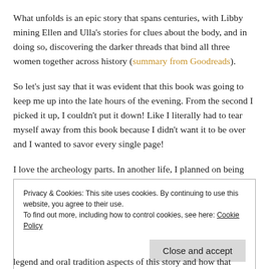What unfolds is an epic story that spans centuries, with Libby mining Ellen and Ulla's stories for clues about the body, and in doing so, discovering the darker threads that bind all three women together across history (summary from Goodreads).
So let's just say that it was evident that this book was going to keep me up into the late hours of the evening. From the second I picked it up, I couldn't put it down! Like I literally had to tear myself away from this book because I didn't want it to be over and I wanted to savor every single page!
I love the archeology parts. In another life, I planned on being
Privacy & Cookies: This site uses cookies. By continuing to use this website, you agree to their use.
To find out more, including how to control cookies, see here: Cookie Policy
[Close and accept]
legend and oral tradition aspects of this story and how that